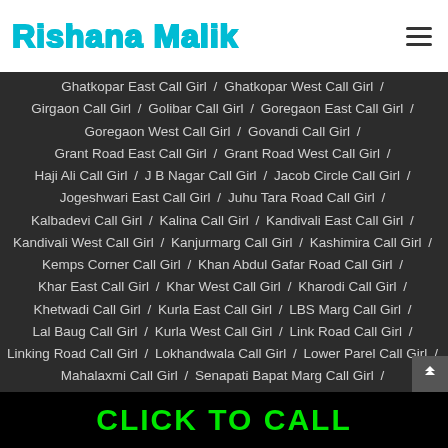Rishana Malik
Ghatkopar East Call Girl / Ghatkopar West Call Girl /
Girgaon Call Girl / Golibar Call Girl / Goregaon East Call Girl /
Goregaon West Call Girl / Govandi Call Girl /
Grant Road East Call Girl / Grant Road West Call Girl /
Haji Ali Call Girl / J B Nagar Call Girl / Jacob Circle Call Girl /
Jogeshwari East Call Girl / Juhu Tara Road Call Girl /
Kalbadevi Call Girl / Kalina Call Girl / Kandivali East Call Girl /
Kandivali West Call Girl / Kanjurmarg Call Girl / Kashimira Call Girl /
Kemps Corner Call Girl / Khan Abdul Gafar Road Call Girl /
Khar East Call Girl / Khar West Call Girl / Kharodi Call Girl /
Khetwadi Call Girl / Kurla East Call Girl / LBS Marg Call Girl /
Lal Baug Call Girl / Kurla West Call Girl / Link Road Call Girl /
Linking Road Call Girl / Lokhandwala Call Girl / Lower Parel Call Girl /
Mahalaxmi Call Girl / Senapati Bapat Marg Call Girl /
CLICK TO CALL